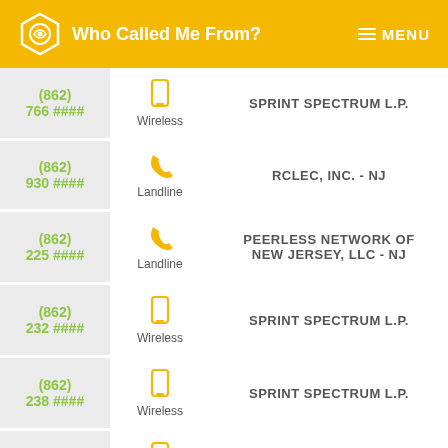Who Called Me From? MENU
(862) 766 #### | Wireless | SPRINT SPECTRUM L.P.
(862) 930 #### | Landline | RCLEC, INC. - NJ
(862) 225 #### | Landline | PEERLESS NETWORK OF NEW JERSEY, LLC - NJ
(862) 232 #### | Wireless | SPRINT SPECTRUM L.P.
(862) 238 #### | Wireless | SPRINT SPECTRUM L.P.
(862) 247 #### | Wireless | SPRINT SPECTRUM L.P.